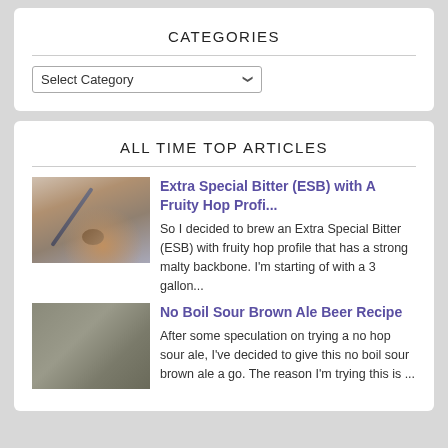CATEGORIES
[Figure (screenshot): Dropdown selector with label 'Select Category' and a chevron arrow]
ALL TIME TOP ARTICLES
[Figure (photo): Close-up photo of a spoon with grain/malt in a brewing setting]
Extra Special Bitter (ESB) with A Fruity Hop Profi...
So I decided to brew an Extra Special Bitter (ESB) with fruity hop profile that has a strong malty backbone. I'm starting of with a 3 gallon...
[Figure (photo): Close-up photo of a grainy brown powder or malt]
No Boil Sour Brown Ale Beer Recipe
After some speculation on trying a no hop sour ale, I've decided to give this no boil sour brown ale a go. The reason I'm trying this is ...